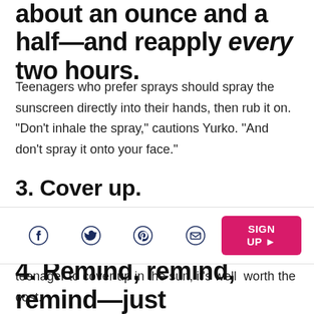about an ounce and a half—and reapply every two hours.
Teenagers who prefer sprays should spray the sunscreen directly into their hands, then rub it on. “Don’t inhale the spray,” cautions Yurko. “And don’t spray it onto your face.”
3. Cover up.
Yurko offers this sun protection advice: If a cute teenager to cover up in the sun, it’s well worth the cost.
[Figure (other): Social sharing bar with Facebook, Twitter, Pinterest, email icons and a pink SIGN UP button]
4. Remind, remind, remind—just